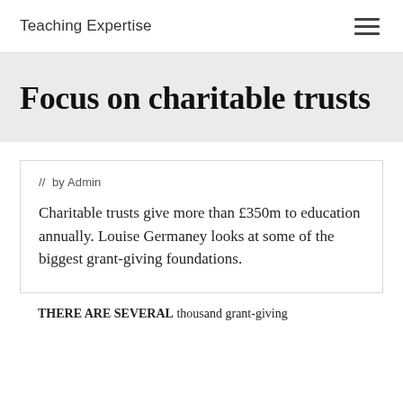Teaching Expertise
Focus on charitable trusts
// by Admin
Charitable trusts give more than £350m to education annually. Louise Germaney looks at some of the biggest grant-giving foundations.
THERE ARE SEVERAL thousand grant-giving